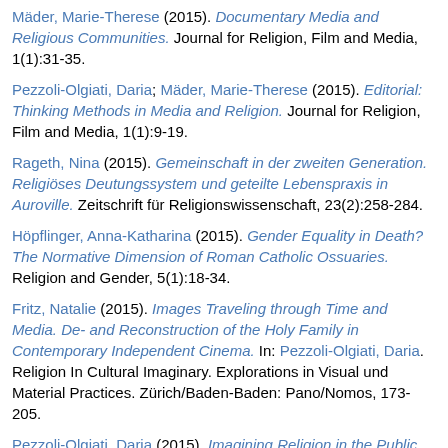Mäder, Marie-Therese (2015). Documentary Media and Religious Communities. Journal for Religion, Film and Media, 1(1):31-35.
Pezzoli-Olgiati, Daria; Mäder, Marie-Therese (2015). Editorial: Thinking Methods in Media and Religion. Journal for Religion, Film and Media, 1(1):9-19.
Rageth, Nina (2015). Gemeinschaft in der zweiten Generation. Religiöses Deutungssystem und geteilte Lebenspraxis in Auroville. Zeitschrift für Religionswissenschaft, 23(2):258-284.
Höpflinger, Anna-Katharina (2015). Gender Equality in Death? The Normative Dimension of Roman Catholic Ossuaries. Religion and Gender, 5(1):18-34.
Fritz, Natalie (2015). Images Traveling through Time and Media. De- and Reconstruction of the Holy Family in Contemporary Independent Cinema. In: Pezzoli-Olgiati, Daria. Religion In Cultural Imaginary. Explorations in Visual und Material Practices. Zürich/Baden-Baden: Pano/Nomos, 173-205.
Pezzoli-Olgiati, Daria (2015). Imagining Religion in the Public Sphere. Religious References in Contemporary Art. In: Pezzoli-Olgiati, Daria. Religion in Cultural Imaginary. Explorations in Visual and Material Practices. Zürich/Baden-Baden: Pano/Nomos,